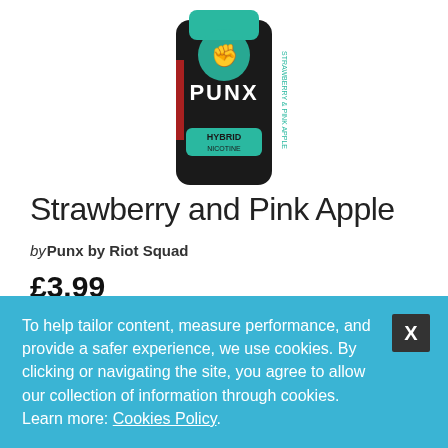[Figure (photo): Product photo of a dark bottle labeled PUNX HYBRID NICOTINE by Riot Squad, strawberry and pink apple flavor, with a green fist logo on top]
Strawberry and Pink Apple
by Punx by Riot Squad
£3.99
E-Liquid Strength
Choose an Option...
To help tailor content, measure performance, and provide a safer experience, we use cookies. By clicking or navigating the site, you agree to allow our collection of information through cookies. Learn more: Cookies Policy.